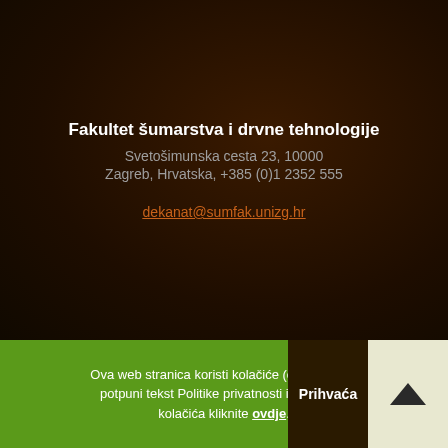Fakultet šumarstva i drvne tehnologije
Svetošimunska cesta 23, 10000
Zagreb, Hrvatska, +385 (0)1 2352 555

dekanat@sumfak.unizg.hr
Ova web stranica koristi kolačiće (cookies). Za potpuni tekst Politike privatnosti i korištenja kolačića kliknite ovdje.
Prihvaća